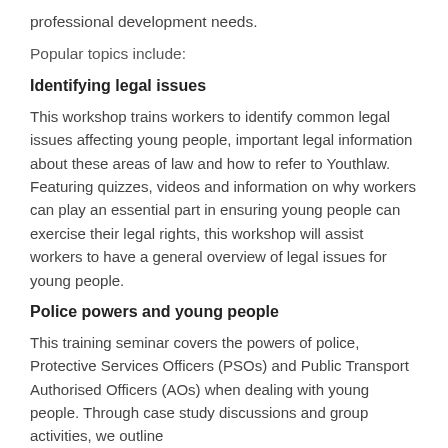professional development needs.
Popular topics include:
Identifying legal issues
This workshop trains workers to identify common legal issues affecting young people, important legal information about these areas of law and how to refer to Youthlaw. Featuring quizzes, videos and information on why workers can play an essential part in ensuring young people can exercise their legal rights, this workshop will assist workers to have a general overview of legal issues for young people.
Police powers and young people
This training seminar covers the powers of police, Protective Services Officers (PSOs) and Public Transport Authorised Officers (AOs) when dealing with young people. Through case study discussions and group activities, we outline